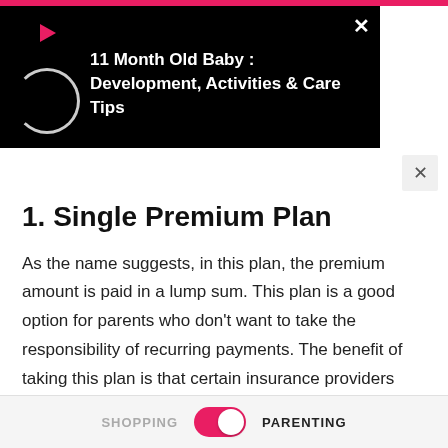[Figure (screenshot): Black notification overlay showing a play icon, loading circle, and bold white text reading '11 Month Old Baby : Development, Activities & Care Tips' with a close X button in the top right corner]
1. Single Premium Plan
As the name suggests, in this plan, the premium amount is paid in a lump sum. This plan is a good option for parents who don't want to take the responsibility of recurring payments. The benefit of taking this plan is that certain insurance providers may offer discounts or lower the premium amount, given the fact they receive the amount in lump sum.
SHOPPING   PARENTING